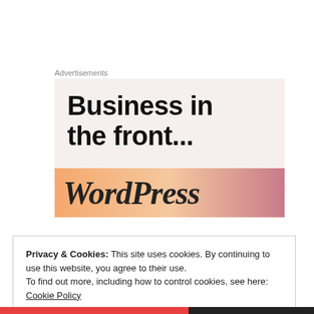Advertisements
[Figure (screenshot): Advertisement banner with large bold text 'Business in the front...' on a light beige background, with an orange-pink gradient bar at the bottom showing partial 'WordPress' text in italic serif font]
Privacy & Cookies: This site uses cookies. By continuing to use this website, you agree to their use.
To find out more, including how to control cookies, see here: Cookie Policy
Close and accept